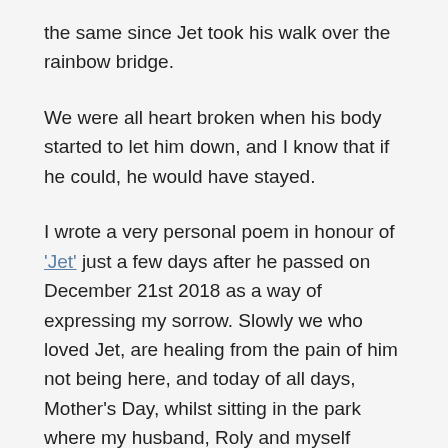the same since Jet took his walk over the rainbow bridge.
We were all heart broken when his body started to let him down, and I know that if he could, he would have stayed.
I wrote a very personal poem in honour of 'Jet' just a few days after he passed on December 21st 2018 as a way of expressing my sorrow. Slowly we who loved Jet, are healing from the pain of him not being here, and today of all days, Mother's Day, whilst sitting in the park where my husband, Roly and myself scattered his ashes, the following came to me.